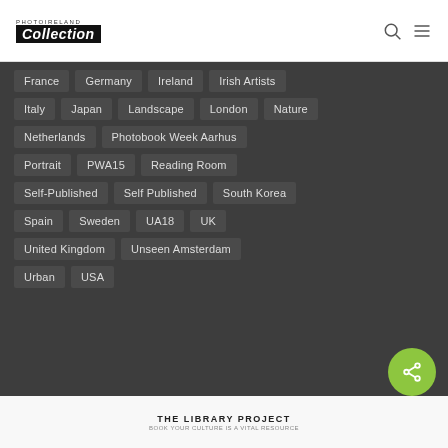PHOTOIRELAND Collection
France
Germany
Ireland
Irish Artists
Italy
Japan
Landscape
London
Nature
Netherlands
Photobook Week Aarhus
Portrait
PWA15
Reading Room
Self-Published
Self Published
South Korea
Spain
Sweden
UA18
UK
United Kingdom
Unseen Amsterdam
Urban
USA
LIKE THESE BOOKS? FIND THEM AT THE LIBRARY PROJECT
THE LIBRARY PROJECT